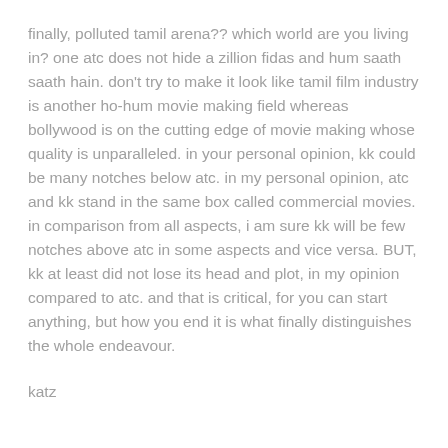finally, polluted tamil arena?? which world are you living in? one atc does not hide a zillion fidas and hum saath saath hain. don't try to make it look like tamil film industry is another ho-hum movie making field whereas bollywood is on the cutting edge of movie making whose quality is unparalleled. in your personal opinion, kk could be many notches below atc. in my personal opinion, atc and kk stand in the same box called commercial movies. in comparison from all aspects, i am sure kk will be few notches above atc in some aspects and vice versa. BUT, kk at least did not lose its head and plot, in my opinion compared to atc. and that is critical, for you can start anything, but how you end it is what finally distinguishes the whole endeavour.
katz